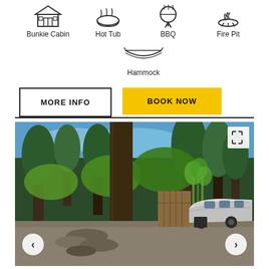Bunkie Cabin
Hot Tub
BBQ
Fire Pit
Hammock
MORE INFO
BOOK NOW
[Figure (photo): Outdoor photo showing a wooded forest scene with tall pine trees, a large tree trunk in the foreground, a silver Airstream trailer on a gravel pad, wooden privacy fence, green plants/bamboo, rocks, and blue sky visible through the trees.]